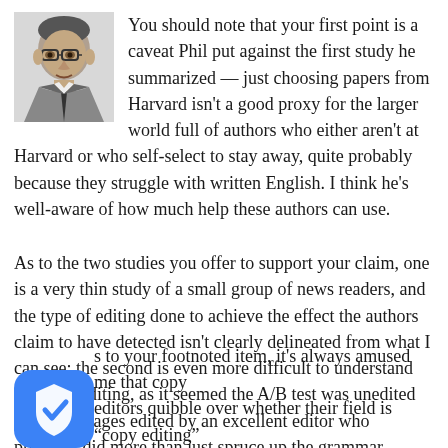You should note that your first point is a caveat Phil put against the first study he summarized — just choosing papers from Harvard isn't a good proxy for the larger world full of authors who either aren't at Harvard or who self-select to stay away, quite probably because they struggle with written English. I think he's well-aware of how much help these authors can use.
As to the two studies you offer to support your claim, one is a very thin study of a small group of news readers, and the type of editing done to achieve the effect the authors claim to have detected isn't clearly delineated from what I can see; the second is even more difficult to understand viz copy editing, as it seemed the A/B test was unedited pages vs. pages edited by an excellent editor who probably did more than just spruce up the grammar.
s to your footnoted item, it's always amused me that copy editors quibble over whether their field is "copy editing"